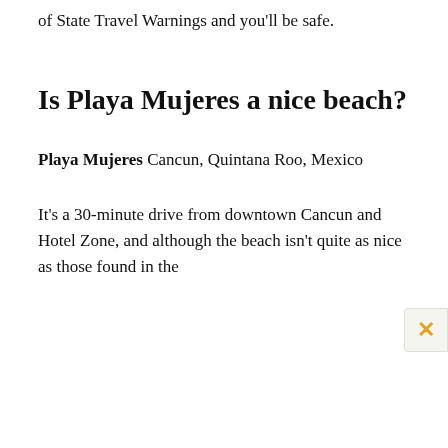of State Travel Warnings and you'll be safe.
Is Playa Mujeres a nice beach?
Playa Mujeres Cancun, Quintana Roo, Mexico
It's a 30-minute drive from downtown Cancun and Hotel Zone, and although the beach isn't quite as nice as those found in the